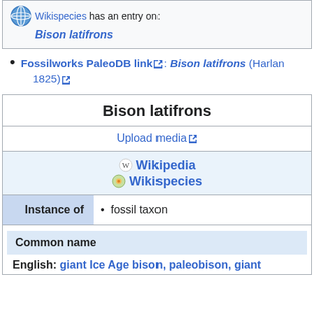Wikispecies has an entry on: Bison latifrons
Fossilworks PaleoDB link: Bison latifrons (Harlan 1825)
| Bison latifrons |
| Upload media |
| Wikipedia | Wikispecies |
| Instance of | fossil taxon |
| Common name |
| English: giant Ice Age bison, paleobison, giant |